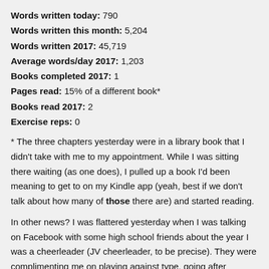Words written today: 790
Words written this month: 5,204
Words written 2017: 45,719
Average words/day 2017: 1,203
Books completed 2017: 1
Pages read: 15% of a different book*
Books read 2017: 2
Exercise reps: 0
* The three chapters yesterday were in a library book that I didn't take with me to my appointment. While I was sitting there waiting (as one does), I pulled up a book I'd been meaning to get to on my Kindle app (yeah, best if we don't talk about how many of those there are) and started reading.
In other news? I was flattered yesterday when I was talking on Facebook with some high school friends about the year I was a cheerleader (JV cheerleader, to be precise). They were complimenting me on playing against type, going after something